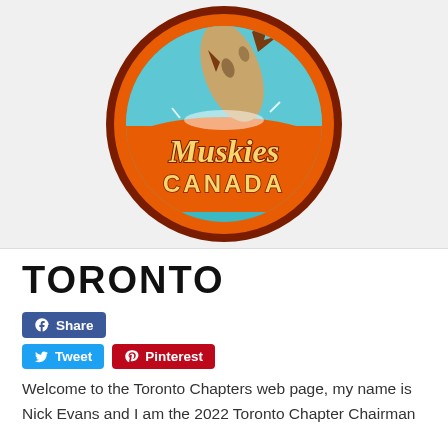[Figure (logo): Muskies Canada circular logo with an orange border, a muskie fish jumping out of water, and stylized script text 'Muskies' and block text 'CANADA' on an orange/teal background.]
TORONTO
[Figure (other): Facebook Share button - blue rounded rectangle with Facebook icon and 'Share' text]
[Figure (other): Twitter Tweet button (blue) and Pinterest button (red) side by side]
Welcome to the Toronto Chapters web page, my name is Nick Evans and I am the 2022 Toronto Chapter Chairman